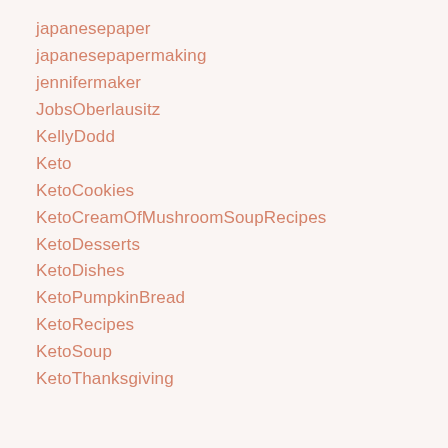japanesepaper
japanesepapermaking
jennifermaker
JobsOberlausitz
KellyDodd
Keto
KetoCookies
KetoCreamOfMushroomSoupRecipes
KetoDesserts
KetoDishes
KetoPumpkinBread
KetoRecipes
KetoSoup
KetoThanksgiving